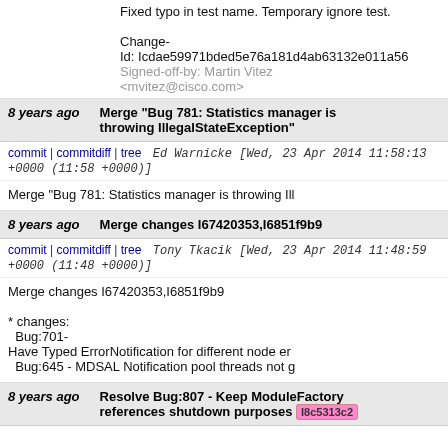Fixed typo in test name. Temporary ignore test.
Change-Id: Icdae59971bded5e76a181d4ab63132e011a56
Signed-off-by: Martin Vitez <mvitez@cisco.com>
8 years ago   Merge "Bug 781: Statistics manager is throwing IllegalStateException"
commit | commitdiff | tree   Ed Warnicke [Wed, 23 Apr 2014 11:58:13 +0000 (11:58 +0000)]
Merge "Bug 781: Statistics manager is throwing Ill
8 years ago   Merge changes I67420353,I6851f9b9
commit | commitdiff | tree   Tony Tkacik [Wed, 23 Apr 2014 11:48:59 +0000 (11:48 +0000)]
Merge changes I67420353,I6851f9b9

* changes:
  Bug:701-
Have Typed ErrorNotification for different node er
  Bug:645 - MDSAL Notification pool threads not g
8 years ago   Resolve Bug:807 - Keep ModuleFactory references shutdown purposes